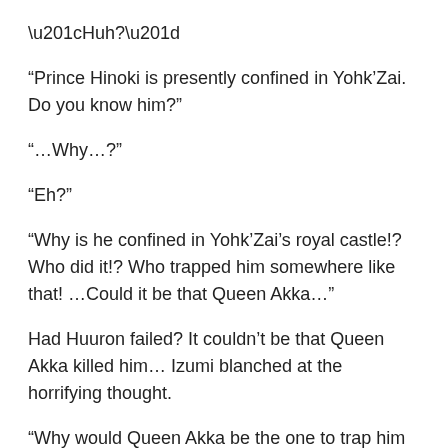“Huh?”
“Prince Hinoki is presently confined in Yohk’Zai. Do you know him?”
“…Why…?”
“Eh?”
“Why is he confined in Yohk’Zai’s royal castle!? Who did it!? Who trapped him somewhere like that! …Could it be that Queen Akka…”
Had Huuron failed? It couldn’t be that Queen Akka killed him… Izumi blanched at the horrifying thought.
“Why would Queen Akka be the one to trap him in Yohk’Zai’s castle?”